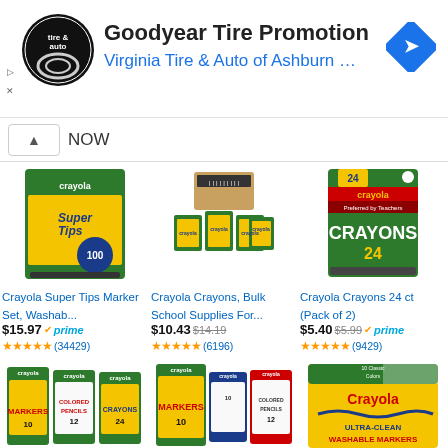[Figure (screenshot): Advertisement banner: Goodyear Tire Promotion by Virginia Tire & Auto of Ashburn with logo and navigation icon]
NOW
[Figure (photo): Crayola Super Tips Marker Set product image]
Crayola Super Tips Marker Set, Washab...
$15.97 prime (34429 reviews)
[Figure (photo): Crayola Crayons Bulk School Supplies product image]
Crayola Crayons, Bulk School Supplies For...
$10.43 $14.19 (6196 reviews)
[Figure (photo): Crayola Crayons 24 ct Pack of 2 product image]
Crayola Crayons 24 ct (Pack of 2)
$5.40 $5.99 prime (9429 reviews)
[Figure (photo): Crayola Colored Markers and Colored Pencils product images]
[Figure (photo): Crayola Markers and Colored Pencils product images]
[Figure (photo): Crayola Ultra-Clean Washable Markers product image]